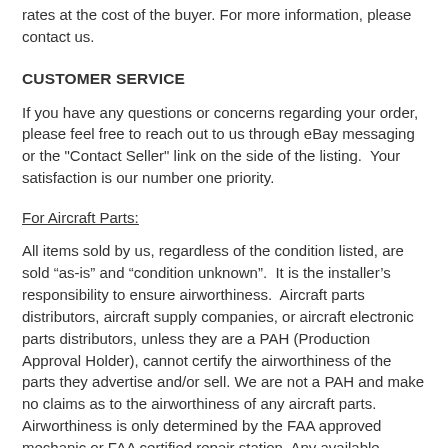rates at the cost of the buyer. For more information, please contact us.
CUSTOMER SERVICE
If you have any questions or concerns regarding your order, please feel free to reach out to us through eBay messaging or the "Contact Seller" link on the side of the listing.  Your satisfaction is our number one priority.
For Aircraft Parts:
All items sold by us, regardless of the condition listed, are sold “as-is” and “condition unknown”.  It is the installer’s responsibility to ensure airworthiness.  Aircraft parts distributors, aircraft supply companies, or aircraft electronic parts distributors, unless they are a PAH (Production Approval Holder), cannot certify the airworthiness of the parts they advertise and/or sell. We are not a PAH and make no claims as to the airworthiness of any aircraft parts. Airworthiness is only determined by the FAA approved mechanic or FAA certified repair station. Any available documentation will be included with parts, however if no documentation is visible or noted in the listing then no documentation is available.  Descriptions and photographs